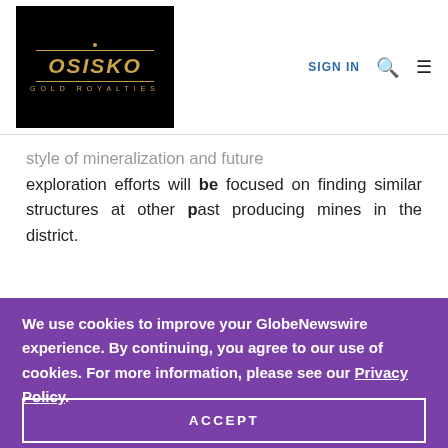OSISKO GOLD ROYALTIES | SIGN IN
style of mineralization and future exploration efforts will be focused on finding similar structures at other past producing mines in the district.
We use cookies to improve your GlobeNewswire experience. By continuing, you agree to our use of cookies. For more information, please see our Privacy Policy.
ACCEPT